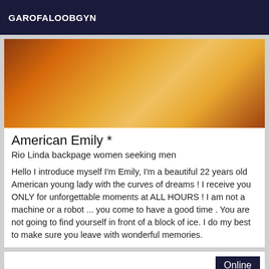GAROFALOOBGYN
[Figure (photo): Close-up warm-toned photo with orange and amber hues]
American Emily *
Rio Linda backpage women seeking men
Hello I introduce myself I'm Emily, I'm a beautiful 22 years old American young lady with the curves of dreams ! I receive you ONLY for unforgettable moments at ALL HOURS ! I am not a machine or a robot ... you come to have a good time . You are not going to find yourself in front of a block of ice. I do my best to make sure you leave with wonderful memories.
Online